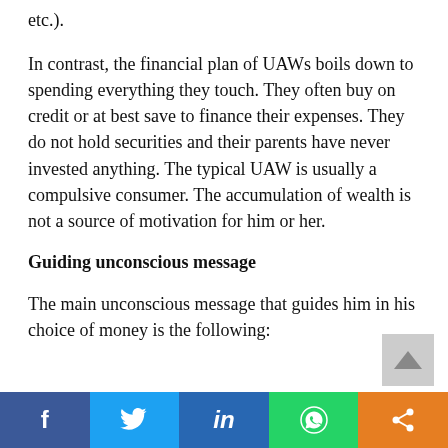etc.).
In contrast, the financial plan of UAWs boils down to spending everything they touch. They often buy on credit or at best save to finance their expenses. They do not hold securities and their parents have never invested anything. The typical UAW is usually a compulsive consumer. The accumulation of wealth is not a source of motivation for him or her.
Guiding unconscious message
The main unconscious message that guides him in his choice of money is the following: